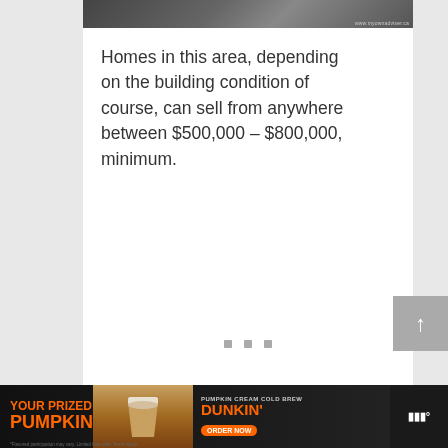[Figure (photo): Dark photo strip at top of content area with watermark www.myownadviser.ca]
Homes in this area, depending on the building condition of course, can sell from anywhere between $500,000 – $800,000, minimum.
[Figure (other): Navigation dot indicators (three grey squares)]
[Figure (other): Scroll-to-top button with upward arrow on grey background]
[Figure (other): Dunkin advertisement banner: YOUR PRIZED PUMPKIN - PUMPKIN CREAM COLD BREW - DUNKIN' ORDER NOW]